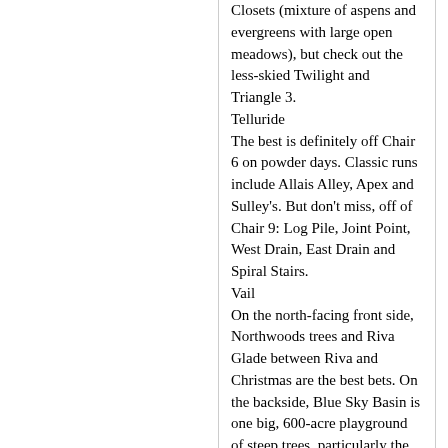Closets (mixture of aspens and evergreens with large open meadows), but check out the less-skied Twilight and Triangle 3.
Telluride
The best is definitely off Chair 6 on powder days. Classic runs include Allais Alley, Apex and Sulley's. But don't miss, off of Chair 9: Log Pile, Joint Point, West Drain, East Drain and Spiral Stairs.
Vail
On the north-facing front side, Northwoods trees and Riva Glade between Riva and Christmas are the best bets. On the backside, Blue Sky Basin is one big, 600-acre playground of steep trees, particularly the runs off the main ridge heading down into Pete's Bowl: Steep and Deep, Lovers' Leap and the Scree Field. Secret bonus stash: Ouzo Glade in Game Creek Bowl.
Winter Park/Mary Jane
Start at the tower second from the top under the Iron Horse chairlift, head northeast into the trees below Pine Cliffs. Pop out on the Summit Express Trail briefly until you reach